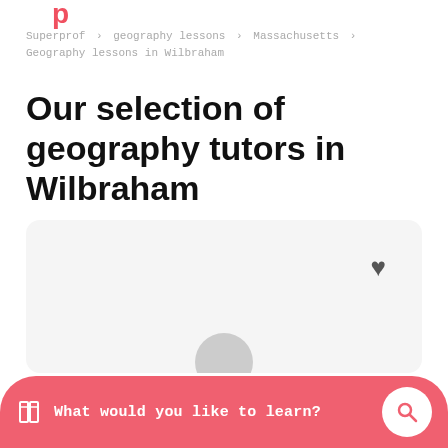Superprof (partial logo)
Superprof > geography lessons > Massachusetts > Geography lessons in Wilbraham
Our selection of geography tutors in Wilbraham
[Figure (other): Tutor profile card placeholder with heart/favorite icon and avatar circle at bottom]
What would you like to learn?